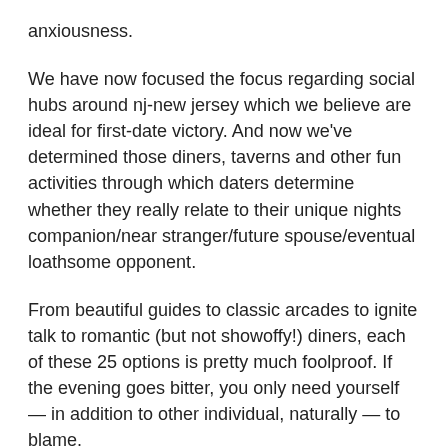anxiousness.
We have now focused the focus regarding social hubs around nj-new jersey which we believe are ideal for first-date victory. And now we've determined those diners, taverns and other fun activities through which daters determine whether they really relate to their unique nights companion/near stranger/future spouse/eventual loathsome opponent.
From beautiful guides to classic arcades to ignite talk to romantic (but not showoffy!) diners, each of these 25 options is pretty much foolproof. If the evening goes bitter, you only need yourself — in addition to other individual, naturally — to blame.
ASBURY PARK
This revitalized beachfront's downtown location, namely Cookman path, are filled with stylish, specialized dining,